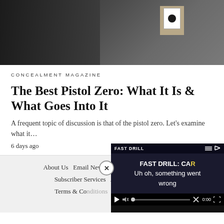[Figure (photo): Person at a shooting range aiming a pistol, with a paper target visible in the background on a cardboard backer]
CONCEALMENT MAGAZINE
The Best Pistol Zero: What It Is & What Goes Into It
A frequent topic of discussion is that of the pistol zero. Let's examine what it…
6 days ago
About Us   Email Newsletter   Subscribe to RECOIL   Subscriber Services   Advertise   Terms & Conditions
[Figure (screenshot): Video overlay showing FAST DRILL title with error message 'Uh oh, something went wrong' and video playback controls at 0:00]